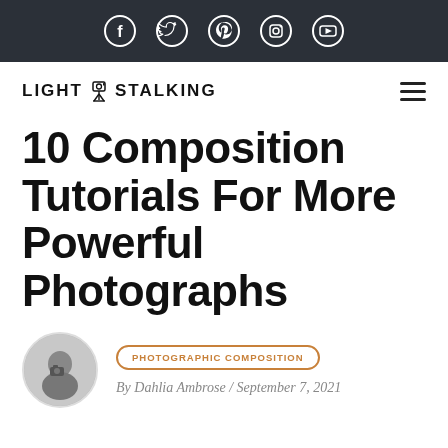Social media icons: Facebook, Twitter, Pinterest, Instagram, YouTube
[Figure (logo): Light Stalking logo with camera on tripod icon]
10 Composition Tutorials For More Powerful Photographs
[Figure (photo): Circular author avatar showing a photographer holding a camera, black and white photo]
PHOTOGRAPHIC COMPOSITION
By Dahlia Ambrose / September 7, 2021